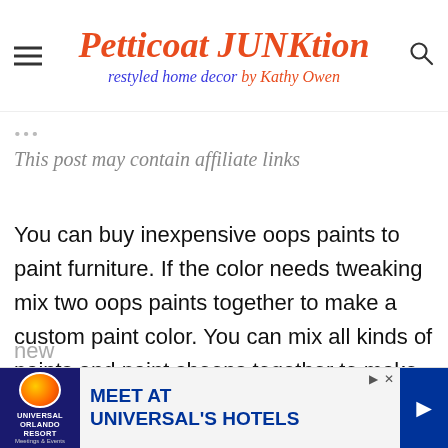Petticoat JUNKtion — restyled home decor by Kathy Owen
This post may contain affiliate links
You can buy inexpensive oops paints to paint furniture. If the color needs tweaking mix two oops paints together to make a custom paint color. You can mix all kinds of paints and paint sheens together to make new [tips]
[Figure (screenshot): Universal Orlando Resort Meetings and Events advertisement banner: Meet at Universal's Hotels]